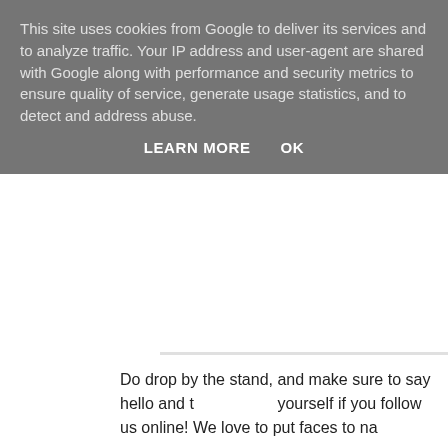This site uses cookies from Google to deliver its services and to analyze traffic. Your IP address and user-agent are shared with Google along with performance and security metrics to ensure quality of service, generate usage statistics, and to detect and address abuse.
LEARN MORE    OK
Do drop by the stand, and make sure to say hello and to yourself if you follow us online! We love to put faces to na
If you can't come to the show, we'll be at the Doncaster D on Sunday October 16th.
Happy Stamping
Leandra